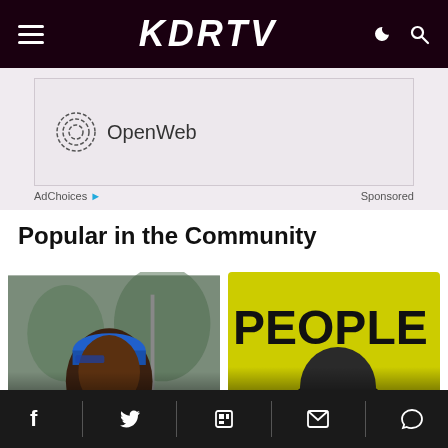KDRTV
[Figure (screenshot): OpenWeb advertisement banner with OpenWeb logo and text]
AdChoices  Sponsored
Popular in the Community
[Figure (photo): Man wearing blue cap - article image: Jeremiah Kioni Reveals Why Raila Had No Agents in...]
[Figure (photo): People sign protest - article image: Little Known D... Commissioner]
Facebook, Twitter, Flipboard, Email, Comments